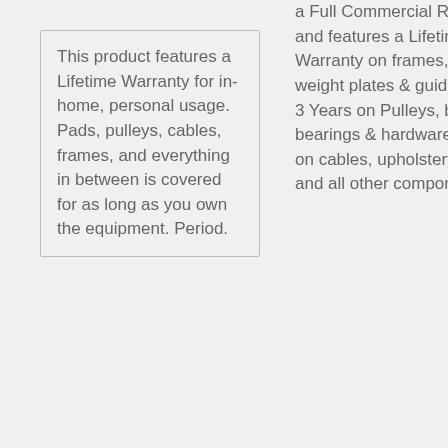This product features a Lifetime Warranty for in-home, personal usage. Pads, pulleys, cables, frames, and everything in between is covered for as long as you own the equipment. Period.
a Full Commercial Rating and features a Lifetime Warranty on frames, welds, weight plates & guide rods. 3 Years on Pulleys, bushing, bearings & hardware. 1 Year on cables, upholstery, grips and all other components